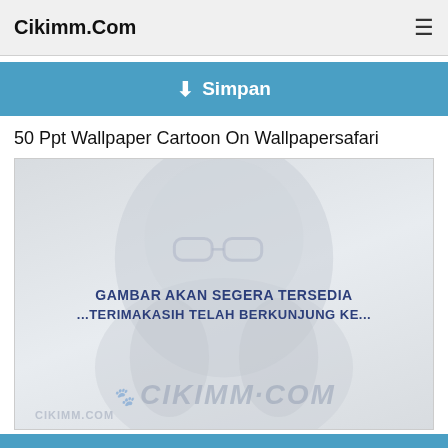Cikimm.Com
Simpan
50 Ppt Wallpaper Cartoon On Wallpapersafari
[Figure (illustration): Placeholder image with cartoon character silhouette in light grey. Text reads: GAMBAR AKAN SEGERA TERSEDIA ...TERIMAKASIH TELAH BERKUNJUNG KE... and watermark CIKIMM.COM]